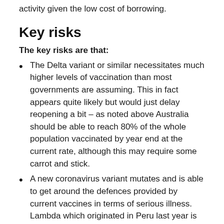activity given the low cost of borrowing.
Key risks
The key risks are that:
The Delta variant or similar necessitates much higher levels of vaccination than most governments are assuming. This in fact appears quite likely but would just delay reopening a bit – as noted above Australia should be able to reach 80% of the whole population vaccinated by year end at the current rate, although this may require some carrot and stick.
A new coronavirus variant mutates and is able to get around the defences provided by current vaccines in terms of serious illness. Lambda which originated in Peru last year is of some concern but does not seem to have spread much.